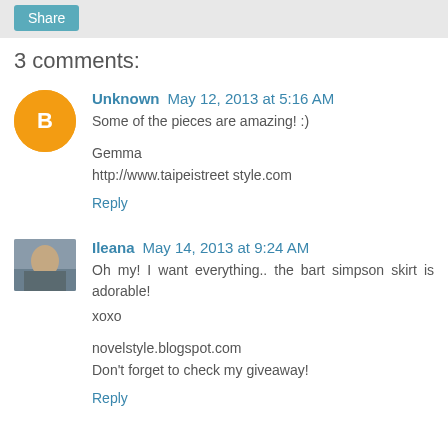Share
3 comments:
Unknown May 12, 2013 at 5:16 AM
Some of the pieces are amazing! :)
Gemma
http://www.taipeistreet style.com
Reply
Ileana May 14, 2013 at 9:24 AM
Oh my! I want everything.. the bart simpson skirt is adorable!
xoxo
ovelstyle.blogspot.com
Don't forget to check my giveaway!
Reply